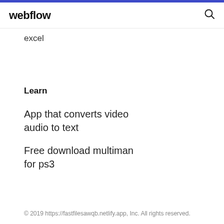webflow
excel
Learn
App that converts video audio to text
Free download multiman for ps3
© 2019 https://fastfilesawqb.netlify.app, Inc. All rights reserved.